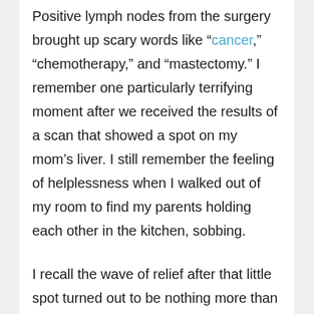Positive lymph nodes from the surgery brought up scary words like “cancer,” “chemotherapy,” and “mastectomy.” I remember one particularly terrifying moment after we received the results of a scan that showed a spot on my mom’s liver. I still remember the feeling of helplessness when I walked out of my room to find my parents holding each other in the kitchen, sobbing.
I recall the wave of relief after that little spot turned out to be nothing more than a cluster of blood vessels. We rode this roller coaster ride, with all its dips and turns, for almost eight...